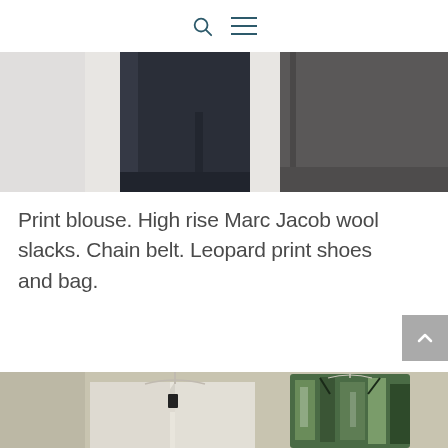Search and menu icons
[Figure (photo): Cropped photo showing bottom portion of dark navy trousers/slacks hanging, with grey fabric visible to the right, against a light wall background.]
Print blouse. High rise Marc Jacob wool slacks. Chain belt. Leopard print shoes and bag.
[Figure (photo): Photo of clothing on hangers against a beige wall: a cream/white blazer on the left and a green and white patterned crop top/bralette on the right.]